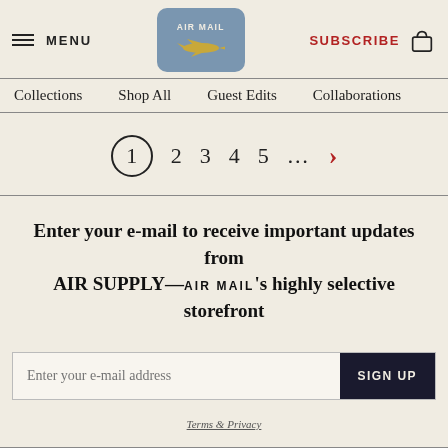MENU | AIR MAIL logo | SUBSCRIBE
Collections   Shop All   Guest Edits   Collaborations
1  2  3  4  5  ...  >
Enter your e-mail to receive important updates from AIR SUPPLY—AIR MAIL's highly selective storefront
Enter your e-mail address   SIGN UP
Terms & Privacy